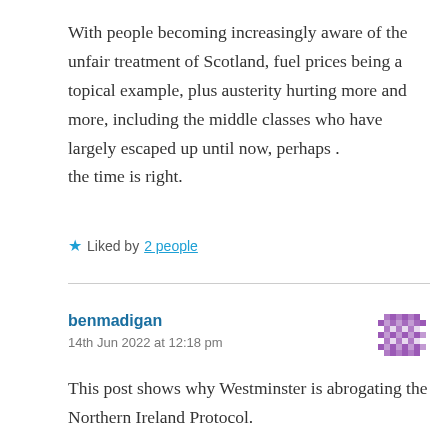With people becoming increasingly aware of the unfair treatment of Scotland, fuel prices being a topical example, plus austerity hurting more and more, including the middle classes who have largely escaped up until now, perhaps . the time is right.
★ Liked by 2 people
benmadigan
14th Jun 2022 at 12:18 pm
This post shows why Westminster is abrogating the Northern Ireland Protocol.

I expect they will do the same with Scotland's Claim